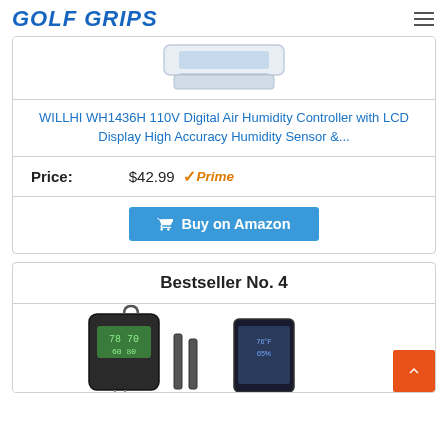GOLF GRIPS
[Figure (photo): Product image of WILLHI WH1436H humidity controller device, partially visible at top]
WILLHI WH1436H 110V Digital Air Humidity Controller with LCD Display High Accuracy Humidity Sensor &...
Price: $42.99 Prime
Buy on Amazon
Bestseller No. 4
[Figure (photo): Product image of a handheld digital data logger device with LCD display and phone app screenshot]